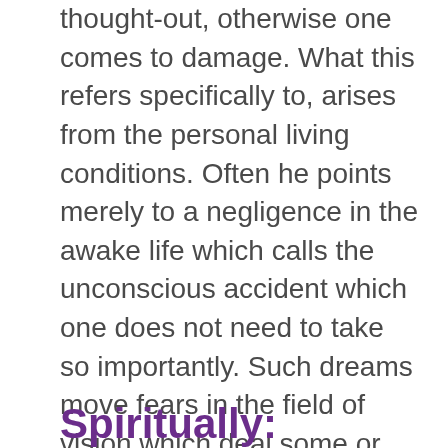thought-out, otherwise one comes to damage. What this refers specifically to, arises from the personal living conditions. Often he points merely to a negligence in the awake life which calls the unconscious accident which one does not need to take so importantly. Such dreams move fears in the field of vision which deal some or carelessness with certainty or with the fear of responsibility. The people involved in it can be decisive. Do they interfere with your life or do they block your making headway? Care if the dream situation in the real life should happen!
Spiritually: